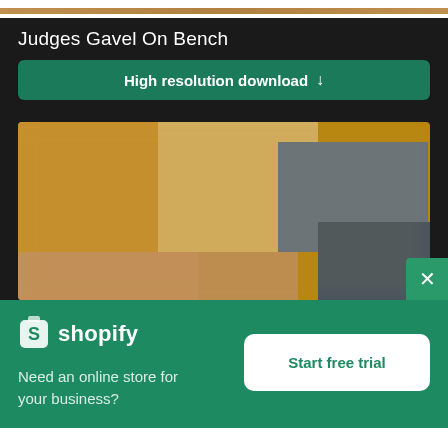[Figure (screenshot): Top decorative bar with tan/brown gradient]
Judges Gavel On Bench
[Figure (screenshot): Green 'High resolution download' button with down arrow]
[Figure (photo): Blurred photo of a judges gavel on a bench, warm tones]
[Figure (screenshot): Shopify advertisement banner: logo, tagline 'Need an online store for your business?', and 'Start free trial' button]